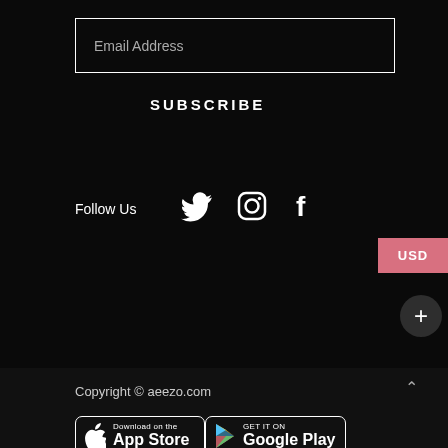Email Address
SUBSCRIBE
Follow Us
[Figure (illustration): Social media icons: Twitter bird, Instagram camera, Facebook f]
USD
+
Copyright © aeezo.com
[Figure (illustration): Download on the App Store badge]
[Figure (illustration): GET IT ON Google Play badge]